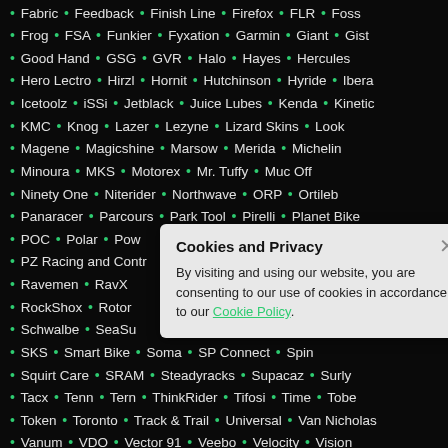Fabric • Feedback • Finish Line • Firefox • FLR • Foss
Frog • FSA • Funkier • Fyxation • Garmin • Giant • Gist
Good Hand • GSG • GVR • Halo • Hayes • Hercules
Hero Lectro • Hirzl • Hornit • Hutchinson • Hyride • Ibera
Icetoolz • iSSi • Jetblack • Juice Lubes • Kenda • Kinetic
KMC • Knog • Lazer • Lezyne • Lizard Skins • Look
Magene • Magicshine • Marsow • Merida • Michelin
Minoura • MKS • Motorex • Mr. Tuffy • Muc Off
Ninety One • Niterider • Northwave • ORP • Ortileb
Panaracer • Parcours • Park Tool • Pirelli • Planet Bike
POC • Polar • Pow... [partially obscured]
PZ Racing and Contr... [partially obscured]
Ravemen • RavX • [partially obscured]
RockShox • Rotor • [partially obscured]
Schwalbe • SeaSuc... [partially obscured]
SKS • Smart Bike • Soma • SP Connect • Spin
Squirt Care • SRAM • Steadyracks • Supacaz • Surly
Tacx • Tenn • Tern • ThinkRider • Tifosi • Time • Tobe
Token • Toronto • Track & Trail • Universal • Van Nicholas
Vanum • VDO • Vector 91 • Veebo • Velocity • Vision
Vittoria • Vittoria • Vittoria • Wahoo • Wellgo • WTB
Cookies and Privacy
By visiting and using our website, you are consenting to our use of cookies in accordance to our Cookie Policy.